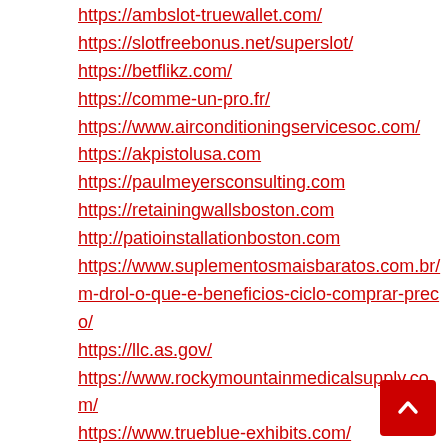https://ambslot-truewallet.com/
https://slotfreebonus.net/superslot/
https://betflikz.com/
https://comme-un-pro.fr/
https://www.airconditioningservicesoc.com/
https://akpistolusa.com
https://paulmeyersconsulting.com
https://retainingwallsboston.com
http://patioinstallationboston.com
https://www.suplementosmaisbaratos.com.br/m-drolo-que-e-beneficios-ciclo-comprar-preco/
https://llc.as.gov/
https://www.rockymountainmedicalsupply.com/
https://www.trueblue-exhibits.com/
https://www.bew-web-agency.fr/